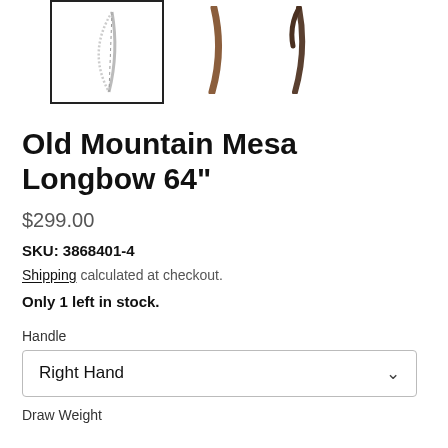[Figure (photo): Three thumbnail images of a longbow. The first (selected, with black border) shows a white/light-colored bow. The second shows a brown/wooden bow. The third shows a dark bow tip.]
Old Mountain Mesa Longbow 64"
$299.00
SKU: 3868401-4
Shipping calculated at checkout.
Only 1 left in stock.
Handle
Right Hand
Draw Weight